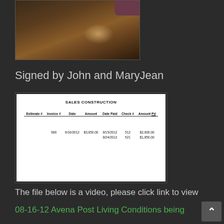[Figure (photo): Photo of hardwood floor with furniture visible at top right, dark room with light reflection on floor]
Signed by John and MaryJean
[Figure (table-as-image): Sales Construction table showing Estimate #, Invoice #, Date, Amount, Date Paid, Check #, Amount Pd. Row: 688, 8/16/2012, $3,850.00, 8/15/2012, 512, $2,000.00; second payment 8/24/2012, 521, $1,850.00]
The file below is a video, please click link to view
08-16-12 Avena Post Living Conditions being